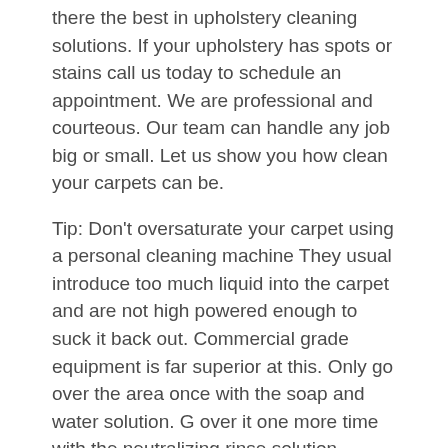there the best in upholstery cleaning solutions. If your upholstery has spots or stains call us today to schedule an appointment. We are professional and courteous. Our team can handle any job big or small. Let us show you how clean your carpets can be.
Tip: Don't oversaturate your carpet using a personal cleaning machine They usual introduce too much liquid into the carpet and are not high powered enough to suck it back out. Commercial grade equipment is far superior at this. Only go over the area once with the soap and water solution. G over it one more time with the neutralizing rinse solution. Finally, Go over it three or four times to make sure all the water is sucked up.
The temperature of the water used to clean your carpet is very important. It is the difference